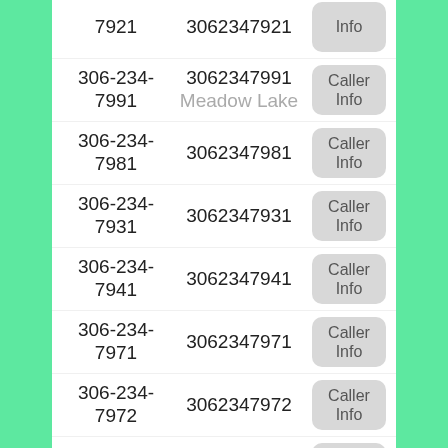306-234-7921 | 3062347921 | Caller Info
306-234-7991 | 3062347991 | Meadow Lake | Caller Info
306-234-7981 | 3062347981 | Caller Info
306-234-7931 | 3062347931 | Caller Info
306-234-7941 | 3062347941 | Caller Info
306-234-7971 | 3062347971 | Caller Info
306-234-7972 | 3062347972 | Caller Info
306-234-7982 | 3062347982 | Caller Info
306-234-... | 3062347922 | Caller